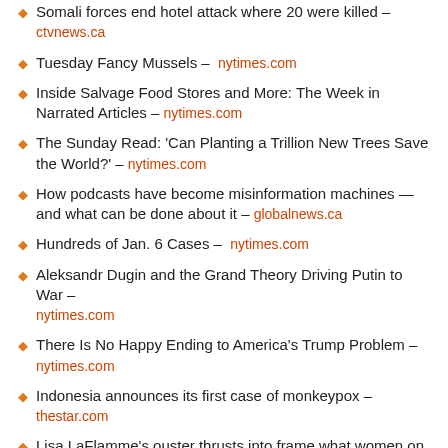Somali forces end hotel attack where 20 were killed – ctvnews.ca
Tuesday Fancy Mussels – nytimes.com
Inside Salvage Food Stores and More: The Week in Narrated Articles – nytimes.com
The Sunday Read: 'Can Planting a Trillion New Trees Save the World?' – nytimes.com
How podcasts have become misinformation machines — and what can be done about it – globalnews.ca
Hundreds of Jan. 6 Cases – nytimes.com
Aleksandr Dugin and the Grand Theory Driving Putin to War – nytimes.com
There Is No Happy Ending to America's Trump Problem – nytimes.com
Indonesia announces its first case of monkeypox – thestar.com
Lisa LaFlamme's ouster thrusts into frame what women on TV…